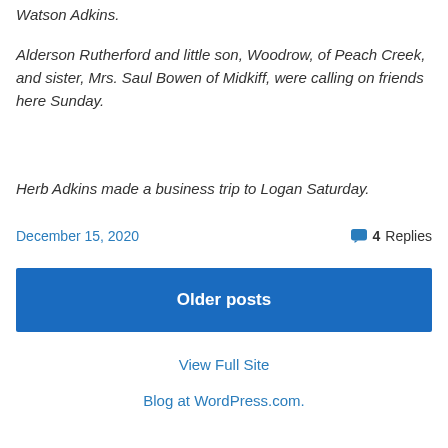Watson Adkins.
Alderson Rutherford and little son, Woodrow, of Peach Creek, and sister, Mrs. Saul Bowen of Midkiff, were calling on friends here Sunday.
Herb Adkins made a business trip to Logan Saturday.
December 15, 2020   4 Replies
Older posts
View Full Site
Blog at WordPress.com.